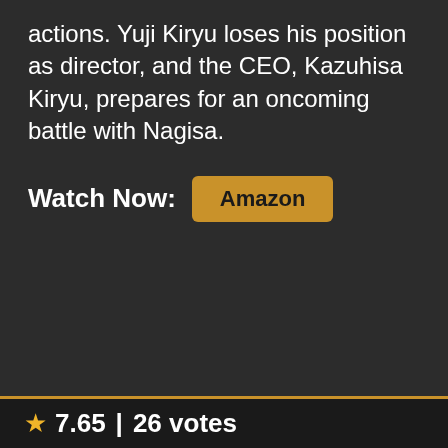actions. Yuji Kiryu loses his position as director, and the CEO, Kazuhisa Kiryu, prepares for an oncoming battle with Nagisa.
Watch Now: Amazon
★ 7.65 | 26 votes